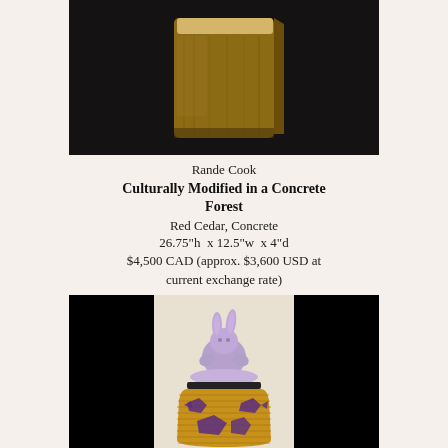[Figure (photo): Photograph of a rectangular red cedar and concrete sculpture against a dark background, showing a weathered wooden block form.]
Rande Cook
Culturally Modified in a Concrete Forest
Red Cedar, Concrete
26.75"h x 12.5"w x 4"d
$4,500 CAD (approx. $3,600 USD at current exchange rate)
[Figure (photo): Photograph of a woven basket with a purple ceramic bunny figurine on top as a lid, decorated with purple raven/bird motifs on a golden woven body, set against a black background.]